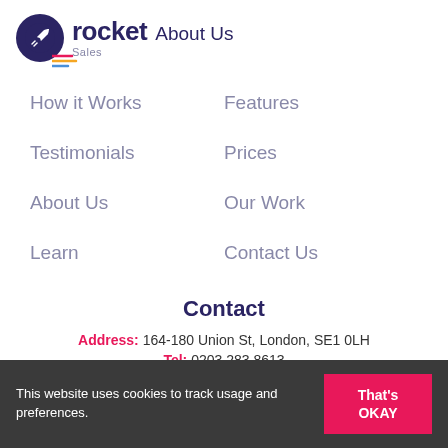[Figure (logo): Rocket Sales logo with dark blue circle containing white rocket icon, followed by 'rocket' wordmark in dark blue bold font, overlaid with 'About Us' text and 'Sales' subtitle]
How it Works
Features
Testimonials
Prices
About Us
Our Work
Learn
Contact Us
Contact
Address: 164-180 Union St, London, SE1 0LH
Tel: 0203 283 8613
This website uses cookies to track usage and preferences.